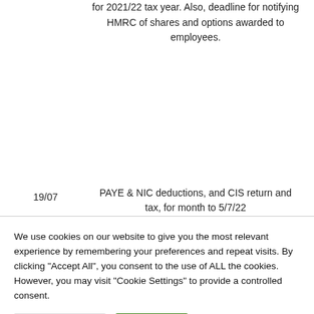| Date | Description |
| --- | --- |
|  | for 2021/22 tax year. Also, deadline for notifying HMRC of shares and options awarded to employees. |
| 19/07 | PAYE & NIC deductions, and CIS return and tax, for month to 5/7/22 |
We use cookies on our website to give you the most relevant experience by remembering your preferences and repeat visits. By clicking "Accept All", you consent to the use of ALL the cookies. However, you may visit "Cookie Settings" to provide a controlled consent.